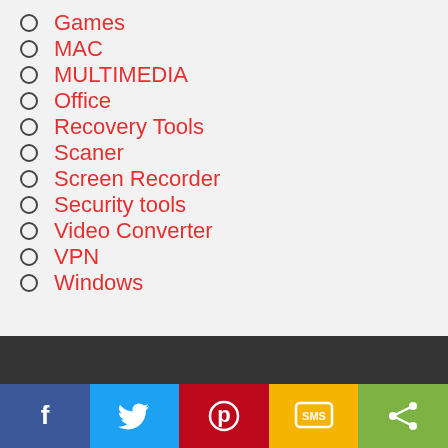Games
MAC
MULTIMEDIA
Office
Recovery Tools
Scaner
Screen Recorder
Security tools
Video Converter
VPN
Windows
[Figure (infographic): Dark footer bar with social sharing buttons: Facebook (blue), Twitter (light blue), Pinterest (red), SMS (yellow/orange), Share (green)]